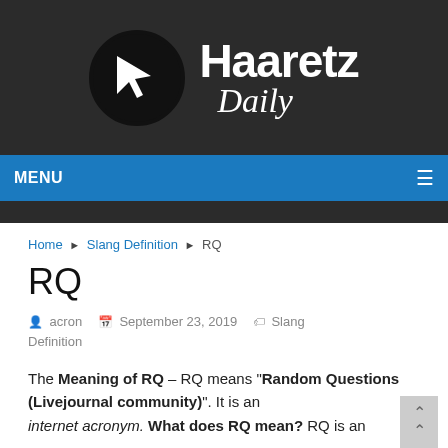[Figure (logo): Haaretz Daily logo: black circle with white arrow cursor icon, next to bold 'Haaretz' text and italic 'Daily' text on dark background]
MENU ≡
Home ▶ Slang Definition ▶ RQ
RQ
acron   September 23, 2019   Slang Definition
The Meaning of RQ – RQ means "Random Questions (Livejournal community)". It is an internet acronym. What does RQ mean? RQ is an